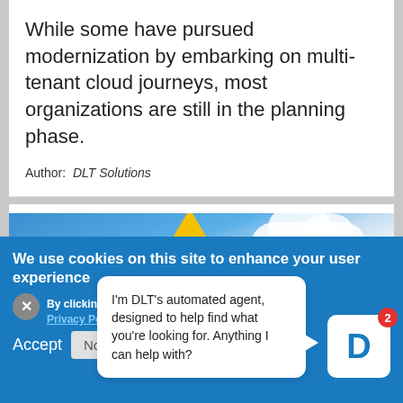While some have pursued modernization by embarking on multi-tenant cloud journeys, most organizations are still in the planning phase.
Author: DLT Solutions
[Figure (photo): Partial photo of a warning sign (yellow triangle) against a blue sky with clouds, partially obscured by overlapping UI elements.]
We use cookies on this site to enhance your user experience
By clicking th... Privacy Policy
I'm DLT's automated agent, designed to help find what you're looking for. Anything I can help with?
Accept
No